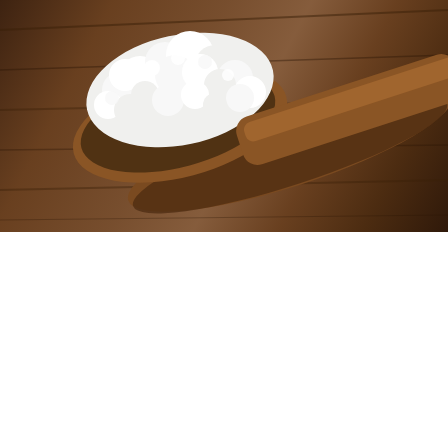VIDEO: Frank Sinatra Singing 'Th...
Taboola Feed
[Figure (photo): A wooden spoon holding white cauliflower or kefir grains on a rustic dark wooden surface]
Eczema Home Remedies Many People Might Not Know
Eczema Remedies | Sponsored